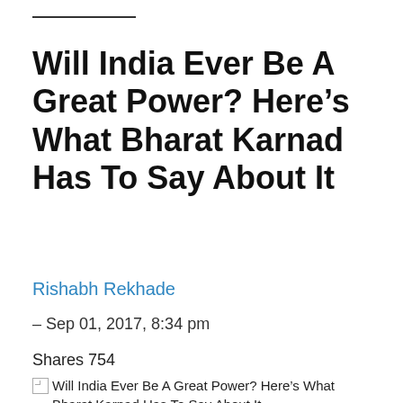Will India Ever Be A Great Power? Here's What Bharat Karnad Has To Say About It
Rishabh Rekhade
– Sep 01, 2017, 8:34 pm
Shares 754
[Figure (photo): Article thumbnail image for 'Will India Ever Be A Great Power? Here's What Bharat Karnad Has To Say About It']